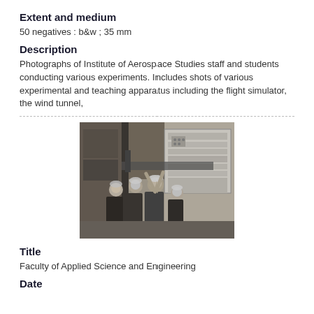Extent and medium
50 negatives : b&w ; 35 mm
Description
Photographs of Institute of Aerospace Studies staff and students conducting various experiments. Includes shots of various experimental and teaching apparatus including the flight simulator, the wind tunnel,
[Figure (photo): Black and white photograph of people (staff/students) working with large experimental or teaching apparatus in a laboratory or industrial setting, viewed from behind.]
Title
Faculty of Applied Science and Engineering
Date